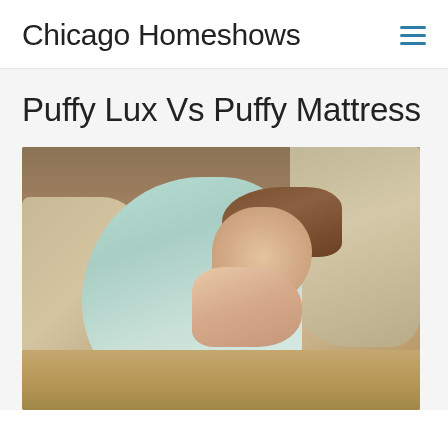Chicago Homeshows
Puffy Lux Vs Puffy Mattress
[Figure (photo): A young girl with curly hair wearing a light mint/green dress sleeping peacefully on a linen pillow with her hands folded under her cheek, surrounded by beige/tan bedding and pillows]